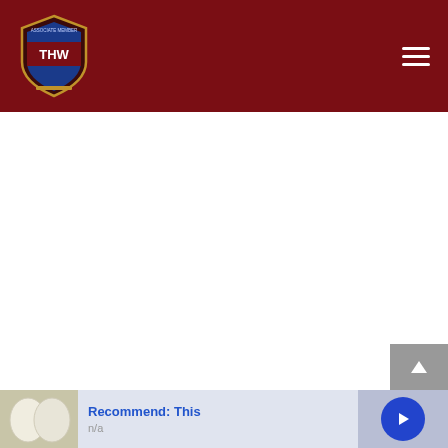THW logo and navigation header
[Figure (screenshot): White blank content area in the middle of the page]
[Figure (photo): Thumbnail image of white oval objects (eggs or similar)]
Recommend: This
n/a